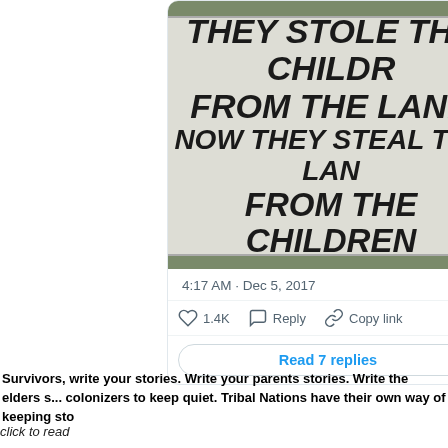[Figure (photo): A protest sign leaning against a wooded area reading: THEY STOLE THE CHILDREN FROM THE LAND / NOW THEY STEAL THE LAND FROM THE CHILDREN]
4:17 AM · Dec 5, 2017
♡ 1.4K    Reply    Copy link
Read 7 replies
Survivors, write your stories. Write your parents stories. Write the elders stories. Don't let colonizers to keep quiet. Tribal Nations have their own way of keeping sto...
click to read